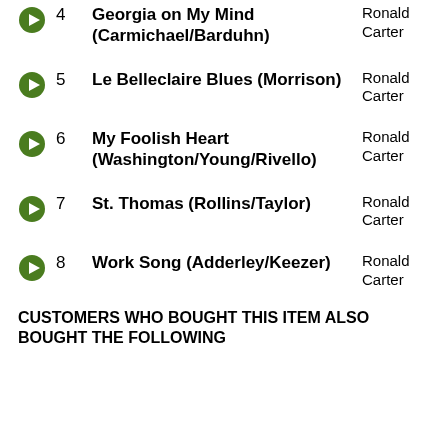4 Georgia on My Mind (Carmichael/Barduhn) — Ronald Carter
5 Le Belleclaire Blues (Morrison) — Ronald Carter
6 My Foolish Heart (Washington/Young/Rivello) — Ronald Carter
7 St. Thomas (Rollins/Taylor) — Ronald Carter
8 Work Song (Adderley/Keezer) — Ronald Carter
CUSTOMERS WHO BOUGHT THIS ITEM ALSO BOUGHT THE FOLLOWING